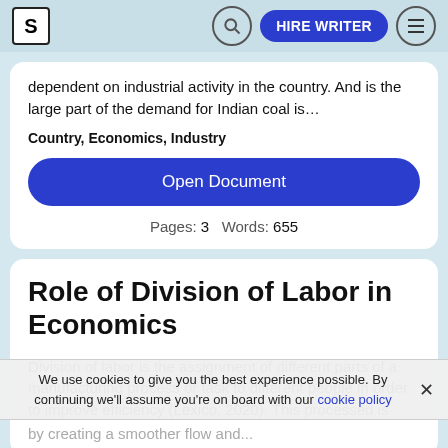S | [search] HIRE WRITER [menu]
dependent on industrial activity in the country. And is the large part of the demand for Indian coal is…
Country, Economics, Industry
Open Document
Pages: 3   Words: 655
Role of Division of Labor in Economics
Division of labor is the assignment of different parts of a manufacturing process or task to different people in order to improve efficiency (Lexico, 2020). This processed is used to
We use cookies to give you the best experience possible. By continuing we'll assume you're on board with our cookie policy
by creating a smoother flow and…